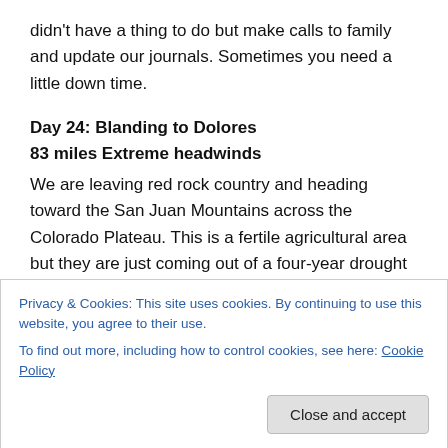didn't have a thing to do but make calls to family and update our journals. Sometimes you need a little down time.
Day 24: Blanding to Dolores
83 miles Extreme headwinds
We are leaving red rock country and heading toward the San Juan Mountains across the Colorado Plateau. This is a fertile agricultural area but they are just coming out of a four-year drought and the farmers are having a tough time. The main crop in this area is beans. As we rode we
Privacy & Cookies: This site uses cookies. By continuing to use this website, you agree to their use.
To find out more, including how to control cookies, see here: Cookie Policy